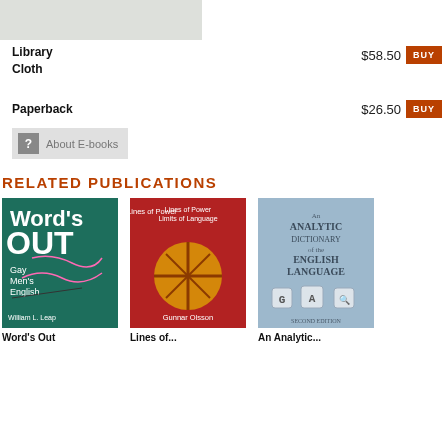PURCHASE
Library Cloth
$58.50 BUY
Paperback
$26.50 BUY
? About E-books
RELATED PUBLICATIONS
[Figure (photo): Book cover: Word's Out – Gay Men's English by William L. Leap]
[Figure (photo): Book cover: Lines of Power / Limits of Language by Gunnar Olsson]
[Figure (photo): Book cover: An Analytic Dictionary of the English Language]
Word's Out
Lines of...
An Analytic...